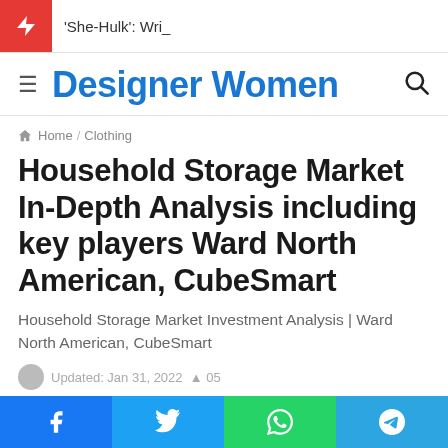'She-Hulk': Wri_
Designer Women
Home / Clothing
Household Storage Market In-Depth Analysis including key players Ward North American, CubeSmart
Household Storage Market Investment Analysis | Ward North American, CubeSmart